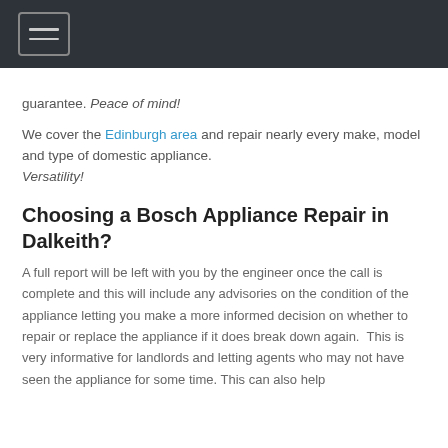[navigation bar with hamburger menu icon]
guarantee. Peace of mind!
We cover the Edinburgh area and repair nearly every make, model and type of domestic appliance. Versatility!
Choosing a Bosch Appliance Repair in Dalkeith?
A full report will be left with you by the engineer once the call is complete and this will include any advisories on the condition of the appliance letting you make a more informed decision on whether to repair or replace the appliance if it does break down again.  This is very informative for landlords and letting agents who may not have seen the appliance for some time. This can also help